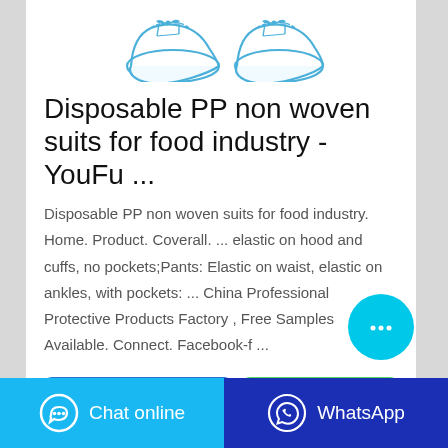[Figure (illustration): Two disposable shoe covers/boots illustrated in blue and white line art style]
Disposable PP non woven suits for food industry - YouFu ...
Disposable PP non woven suits for food industry. Home. Product. Coverall. ... elastic on hood and cuffs, no pockets;Pants: Elastic on waist, elastic on ankles, with pockets: ... China Professional Protective Products Factory , Free Samples Available. Connect. Facebook-f ...
Contact the manufacturer
WhatsApp
Chat online
WhatsApp